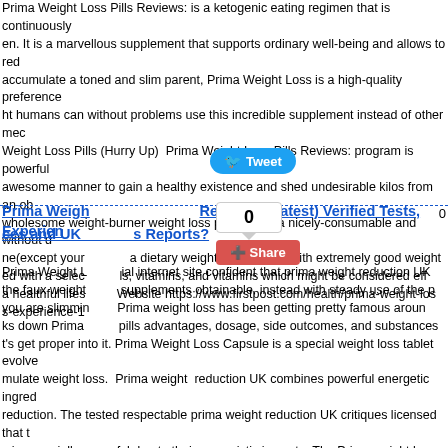Prima Weight Loss Pills Reviews: is a ketogenic eating regimen that is continuously en. It is a marvellous supplement that supports ordinary well-being and allows to red accumulate a toned and slim parent, Prima Weight Loss is a high-quality preference ht humans can without problems use this incredible supplement instead of other mec Weight Loss Pills (Hurry Up)  Prima Weight Loss Pills Reviews: program is powerful awesome manner to gain a healthy existence and shed undesirable kilos from an ob wholesome weight-burner weight loss plan that is a nicely-consumable and without d ne(except your a dietary weight loss answer with extremely good weight ed with a selec ls, vitamins, and vitamins which might be considered eff a healthful lifes Website https://www.firstpost.com/health/prima-weight-los s-experience-1
[Figure (infographic): Tweet button (blue rounded), share button (red), and count box showing 0]
Prima Weigh Reviews; (Latest) Verified Tests, Experien ces and UK s Reports?
Prima Weight L ial internet site confident that prima weight reduction UK the faux weight supplements obtainable, instead with steady use of the p you are slimmin Prima weight loss has been getting pretty famous aroun ks down Prima pills advantages, dosage, side outcomes, and substances t's get proper into it. Prima Weight Loss Capsule is a special weight loss tablet evolve mulate weight loss.  Prima weight  reduction UK combines powerful energetic ingred reduction. The tested respectable prima weight reduction UK critiques licensed that t s is especially powerful due to their synergistic impact.   The Prime weight los pills c s that are to be had to be used without a prescription. If taken in the endorsed dosag thin 2 to three months. This term might look a chunk lengthy, but if the weight reducti ths, it is better to head worth that product than to follow fake promises on ineffective n-line prima weight reduction UK opinions gathered that this weight reduction tablet c u to take any unique food regimen or observe any exercise regimen. OffICIAL WEBS s/ Read more: https://www.villagevoice.com/2022/05/12/prima-weight-loss-pills-uk-re ore: https://www.firstpost.com/health/prima-weight-loss-pills-reviews-uk-ie-diet-